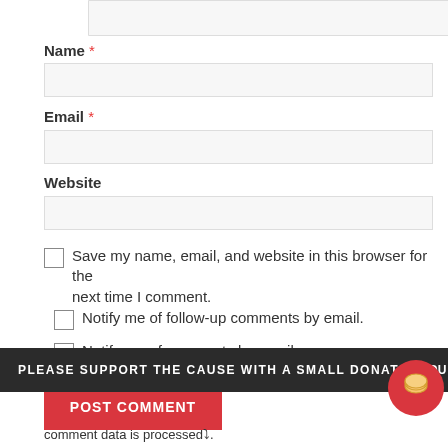[textarea top — text area input field]
Name *
Email *
Website
Save my name, email, and website in this browser for the next time I comment.
Notify me of follow-up comments by email.
Notify me of new posts by email.
POST COMMENT
PLEASE SUPPORT THE CAUSE WITH A SMALL DONATION
comment data is processed⤵.